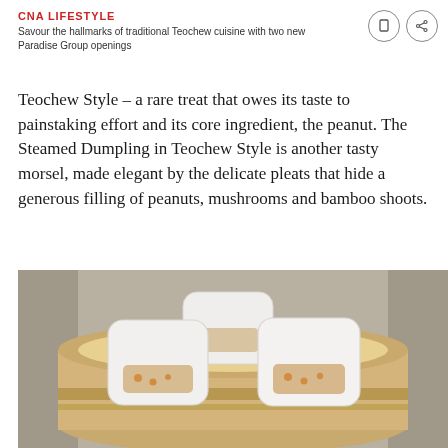CNA LIFESTYLE
Savour the hallmarks of traditional Teochew cuisine with two new Paradise Group openings
Teochew Style – a rare treat that owes its taste to painstaking effort and its core ingredient, the peanut. The Steamed Dumpling in Teochew Style is another tasty morsel, made elegant by the delicate pleats that hide a generous filling of peanuts, mushrooms and bamboo shoots.
[Figure (photo): Three white square-shaped steamed dumplings in a bamboo steamer basket, showing filling of peanuts and vegetables visible through the translucent wrapper. The basket sits on a textured woven mat background.]